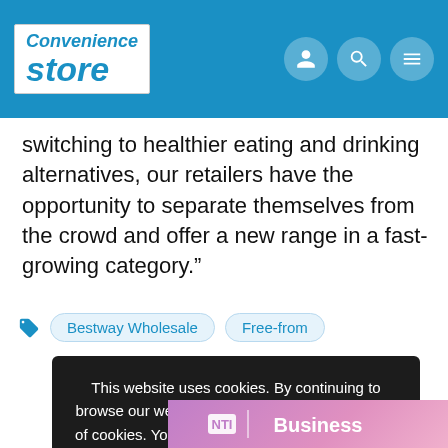Convenience Store
switching to healthier eating and drinking alternatives, our retailers have the opportunity to separate themselves from the crowd and offer a new range in a fast-growing category.”
Bestway Wholesale
Free-from
This website uses cookies. By continuing to browse our website, you are agreeing to our use of cookies. You can learn more about cookies by visiting our privacy & cookies policy page.
OK
[Figure (logo): NTI Business logo banner at bottom]